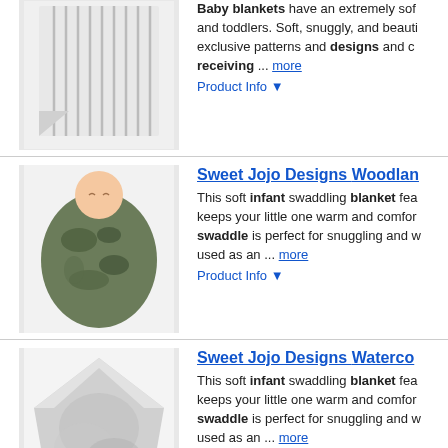[Figure (photo): White/grey striped baby blanket product image]
Baby blankets have an extremely soft feel for babies and toddlers. Soft, snuggly, and beautifully designed with exclusive patterns and designs and ca... receiving ... more
Product Info ▼
[Figure (photo): Baby wrapped in camouflage swaddle blanket]
Sweet Jojo Designs Woodland...
This soft infant swaddling blanket features and keeps your little one warm and comfor... swaddle is perfect for snuggling and w... used as an ... more
Product Info ▼
[Figure (photo): Grey watercolor swaddle blanket product image]
Sweet Jojo Designs Waterco...
This soft infant swaddling blanket features and keeps your little one warm and comfor... swaddle is perfect for snuggling and w... used as an ... more
Product Info ▼
[Figure (photo): Beige/cream grid patterned baby blanket]
Sweet Jojo Designs Woodland...
This baby blanket has an extremely soft feel for infants, and toddlers. Soft, snuggly, and exclusive patterns and designs and ca... receiving ... more
Product Info ▼
Sweet Jojo Designs Waterco...